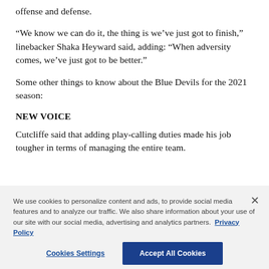offense and defense.
“We know we can do it, the thing is we’ve just got to finish,” linebacker Shaka Heyward said, adding: “When adversity comes, we’ve just got to be better.”
Some other things to know about the Blue Devils for the 2021 season:
NEW VOICE
Cutcliffe said that adding play-calling duties made his job tougher in terms of managing the entire team.
We use cookies to personalize content and ads, to provide social media features and to analyze our traffic. We also share information about your use of our site with our social media, advertising and analytics partners. Privacy Policy
Cookies Settings
Accept All Cookies